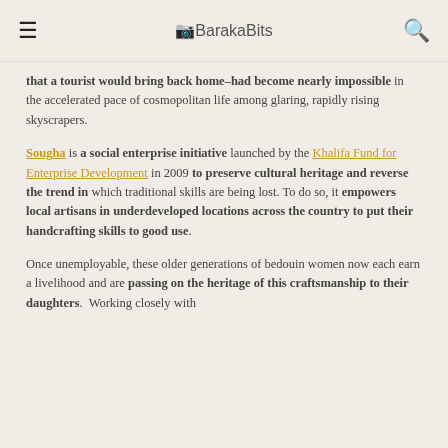BarakaBits
that a tourist would bring back home–had become nearly impossible in the accelerated pace of cosmopolitan life among glaring, rapidly rising skyscrapers.
Sougha is a social enterprise initiative launched by the Khalifa Fund for Enterprise Development in 2009 to preserve cultural heritage and reverse the trend in which traditional skills are being lost. To do so, it empowers local artisans in underdeveloped locations across the country to put their handcrafting skills to good use.
Once unemployable, these older generations of bedouin women now each earn a livelihood and are passing on the heritage of this craftsmanship to their daughters. Working closely with